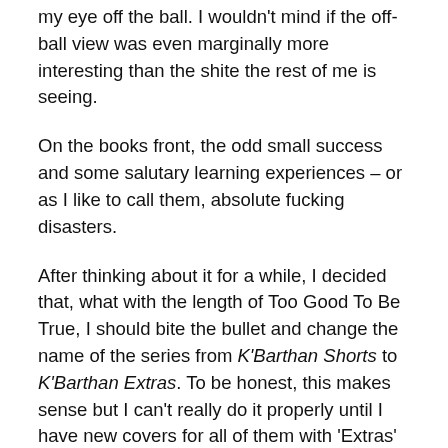my eye off the ball. I wouldn't mind if the off-ball view was even marginally more interesting than the shite the rest of me is seeing.
On the books front, the odd small success and some salutary learning experiences – or as I like to call them, absolute fucking disasters.
After thinking about it for a while, I decided that, what with the length of Too Good To Be True, I should bite the bullet and change the name of the series from K'Barthan Shorts to K'Barthan Extras. To be honest, this makes sense but I can't really do it properly until I have new covers for all of them with 'Extras' instead of 'Shorts'. I guess the thing that really tipped me over was discovering that I was able to change the name of a series on Amazon a great deal more easily than I'd realised. After years of being told by Amazon that I would have to...